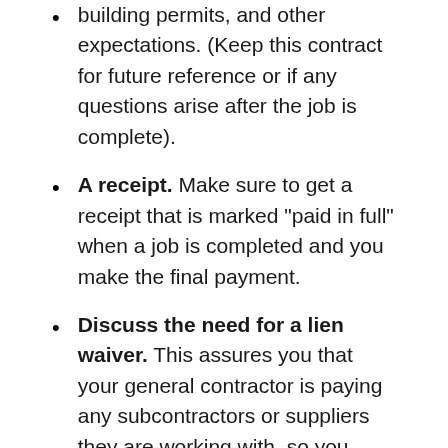building permits, and other expectations. (Keep this contract for future reference or if any questions arise after the job is complete).
A receipt. Make sure to get a receipt that is marked “paid in full” when a job is completed and you make the final payment.
Discuss the need for a lien waiver. This assures you that your general contractor is paying any subcontractors or suppliers they are working with, so you aren’t liable for additional costs down the road.
AS THE JOB COMES TO A CLOSE